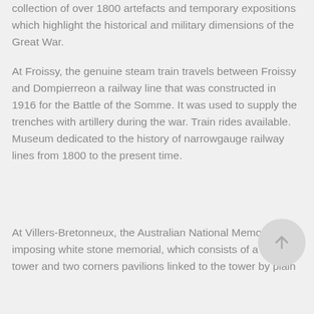collection of over 1800 artefacts and temporary expositions which highlight the historical and military dimensions of the Great War.
At Froissy, the genuine steam train travels between Froissy and Dompierreon a railway line that was constructed in 1916 for the Battle of the Somme. It was used to supply the trenches with artillery during the war. Train rides available. Museum dedicated to the history of narrowgauge railway lines from 1800 to the present time.
At Villers-Bretonneux, the Australian National Memorial, an imposing white stone memorial, which consists of a central tower and two corners pavilions linked to the tower by plain